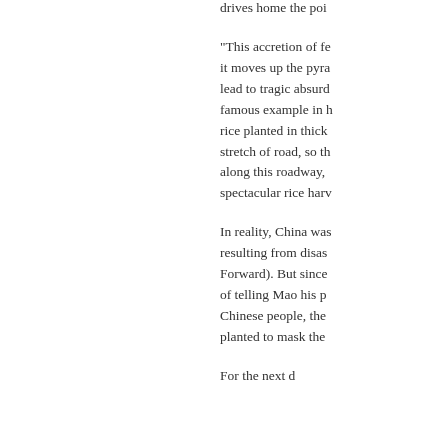drives home the poi
“This accretion of fe it moves up the pyra lead to tragic absurd famous example in h rice planted in thick stretch of road, so th along this roadway, spectacular rice harv
In reality, China was resulting from disas Forward). But since of telling Mao his pe Chinese people, the planted to mask the
For the next d